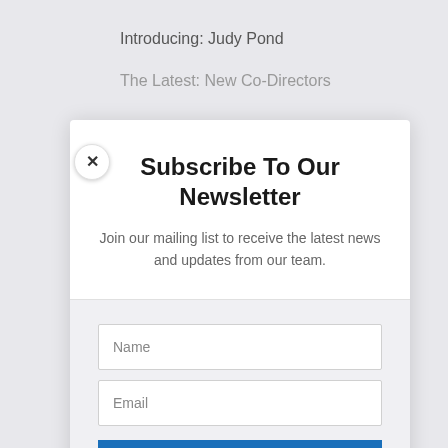Introducing: Judy Pond
The Latest: New Co-Directors
Subscribe To Our Newsletter
Join our mailing list to receive the latest news and updates from our team.
Name
Email
SUBSCRIBE